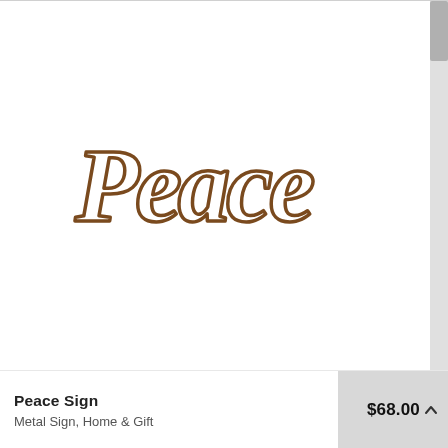[Figure (photo): A metal cursive 'Peace' sign in a brown/rust color, photographed against a white background.]
Peace Sign
Metal Sign, Home & Gift
$68.00